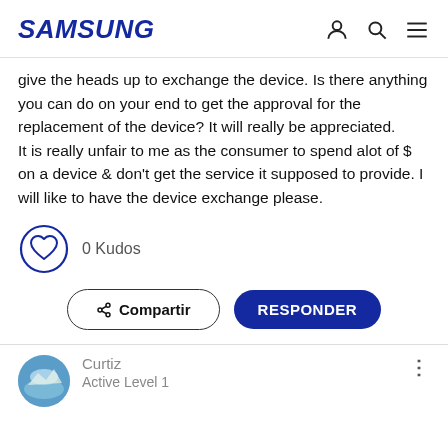SAMSUNG
give the heads up to exchange the device. Is there anything you can do on your end to get the approval for the replacement of the device? It will really be appreciated.
It is really unfair to me as the consumer to spend alot of $ on a device & don't get the service it supposed to provide. I will like to have the device exchange please.
0 Kudos
Compartir   RESPONDER
Curtiz
Active Level 1